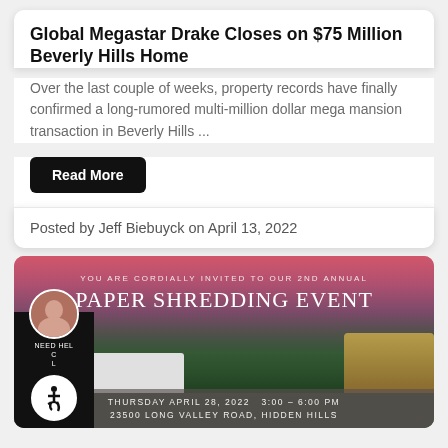Global Megastar Drake Closes on $75 Million Beverly Hills Home
Over the last couple of weeks, property records have finally confirmed a long-rumored multi-million dollar mega mansion transaction in Beverly Hills ...
Read More
Posted by Jeff Biebuyck on April 13, 2022
[Figure (photo): Event banner for 2nd Annual Paper Shredding Event on Thursday April 28, 2022 from 3:00-6:00 PM at 23500 Long Valley Road, Hidden Hills. Background shows a sunset sky with trees and buildings.]